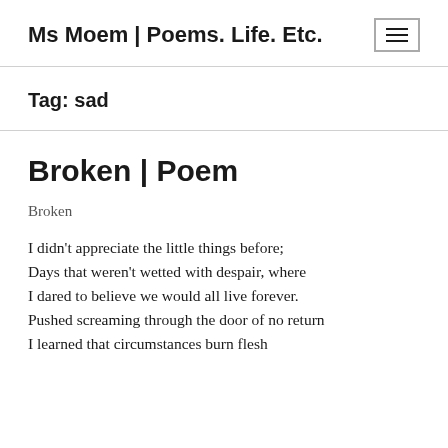Ms Moem | Poems. Life. Etc.
Tag: sad
Broken | Poem
Broken
I didn't appreciate the little things before;
Days that weren't wetted with despair, where
I dared to believe we would all live forever.
Pushed screaming through the door of no return
I learned that circumstances burn flesh